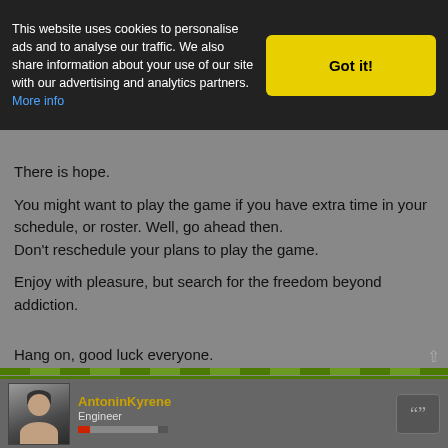This website uses cookies to personalise ads and to analyse our traffic. We also share information about your use of our site with our advertising and analytics partners. More info
There is hope.

You might want to play the game if you have extra time in your schedule, or roster. Well, go ahead then.
Don't reschedule your plans to play the game.

Enjoy with pleasure, but search for the freedom beyond addiction.

Hang on, good luck everyone.
rbos86' Screenshots thread is here
rbos86' Unrealistic Dutch games -thread, on the other hand,is this button
AntoninKyrene
Engineer